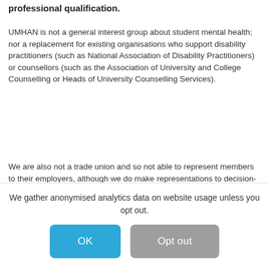professional qualification.
UMHAN is not a general interest group about student mental health; nor a replacement for existing organisations who support disability practitioners (such as National Association of Disability Practitioners) or counsellors (such as the Association of University and College Counselling or Heads of University Counselling Services).
We are also not a trade union and so not able to represent members to their employers, although we do make representations to decision-making bodies for our membership as a whole. We recommend members join a trade union and advice about this...
We gather anonymised analytics data on website usage unless you opt out.
OK
Opt out